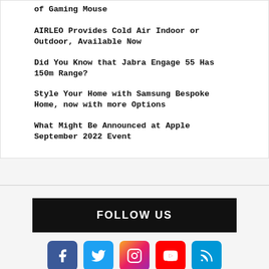of Gaming Mouse
AIRLEO Provides Cold Air Indoor or Outdoor, Available Now
Did You Know that Jabra Engage 55 Has 150m Range?
Style Your Home with Samsung Bespoke Home, now with more Options
What Might Be Announced at Apple September 2022 Event
FOLLOW US
[Figure (infographic): Social media icon buttons for Facebook, Twitter, Instagram, YouTube, and RSS feed]